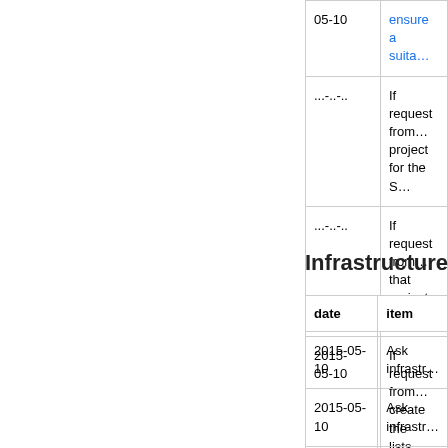| date | item |
| --- | --- |
| 05-10 | ensure a suita… |
| ...-..-.. | If request from… project for the S… |
| ...-..-.. | If request from… that project for… |
| 2015-05-10 | If request from… create the lists… |
Infrastructure
| date | item |
| --- | --- |
| 2015-05-10 | Ask infrastr… |
| 2015-05-10 | Ask infrastr… |
| 2015-05-10 | Ask infrastr… |
| 2015-05-10 | Ask infrastr… |
|  | Migrate the… |